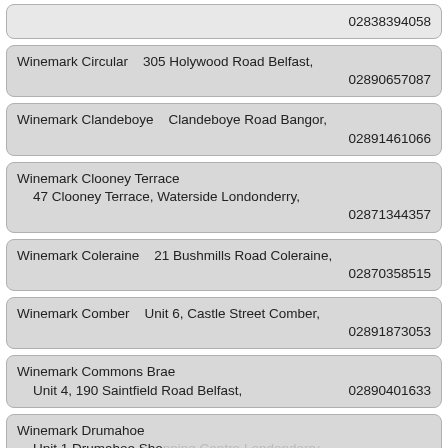02838394058
Winemark Circular    305 Holywood Road Belfast,
02890657087
Winemark Clandeboye    Clandeboye Road Bangor,
02891461066
Winemark Clooney Terrace
   47 Clooney Terrace, Waterside Londonderry,
02871344357
Winemark Coleraine    21 Bushmills Road Coleraine,
02870358515
Winemark Comber    Unit 6, Castle Street Comber,
02891873053
Winemark Commons Brae
   Unit 4, 190 Saintfield Road Belfast,    02890401633
Winemark Drumahoe
   Unit 1 Drumahoe Shopping Centre Londonderry,